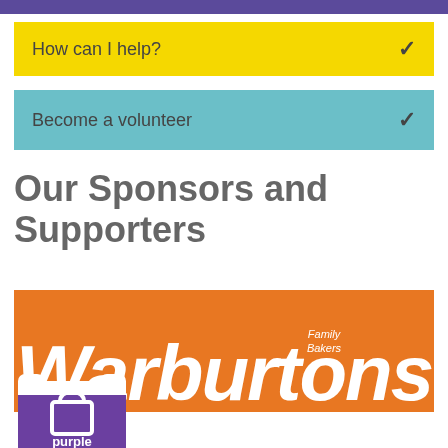How can I help?
Become a volunteer
Our Sponsors and Supporters
[Figure (logo): Warburtons Family Bakers logo — orange background with large white italic Warburtons text and 'Family Bakers' in smaller white italic text above]
[Figure (logo): Purple Pantry logo — purple square background with white shopping bag icon and 'purple pantry' text in white, with a pink accent]